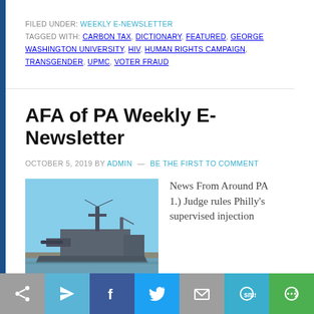FILED UNDER: WEEKLY E-NEWSLETTER
TAGGED WITH: CARBON TAX, DICTIONARY, FEATURED, GEORGE WASHINGTON UNIVERSITY, HIV, HUMAN RIGHTS CAMPAIGN, TRANSGENDER, UPMC, VOTER FRAUD
AFA of PA Weekly E-Newsletter
OCTOBER 5, 2019 BY ADMIN — BE THE FIRST TO COMMENT
[Figure (photo): Photograph of a naval warship (battleship) docked at a pier, blue sky background]
News From Around PA 1.) Judge rules Philly's supervised injection